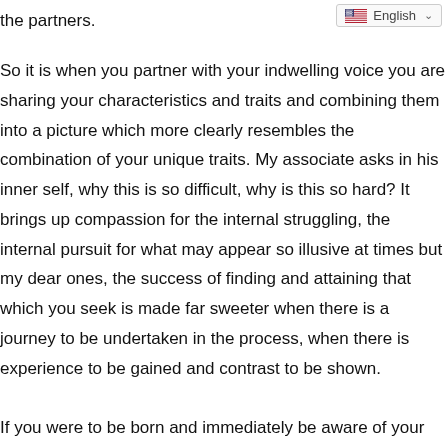the partners.
So it is when you partner with your indwelling voice you are sharing your characteristics and traits and combining them into a picture which more clearly resembles the combination of your unique traits. My associate asks in his inner self, why this is so difficult, why is this so hard? It brings up compassion for the internal struggling, the internal pursuit for what may appear so illusive at times but my dear ones, the success of finding and attaining that which you seek is made far sweeter when there is a journey to be undertaken in the process, when there is experience to be gained and contrast to be shown.
If you were to be born and immediately be aware of your divinity and connection to your divine lineage you would not